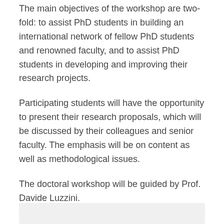The main objectives of the workshop are two-fold: to assist PhD students in building an international network of fellow PhD students and renowned faculty, and to assist PhD students in developing and improving their research projects.
Participating students will have the opportunity to present their research proposals, which will be discussed by their colleagues and senior faculty. The emphasis will be on content as well as methodological issues.
The doctoral workshop will be guided by Prof. Davide Luzzini.
[Figure (other): Gray background box at the bottom of the page]